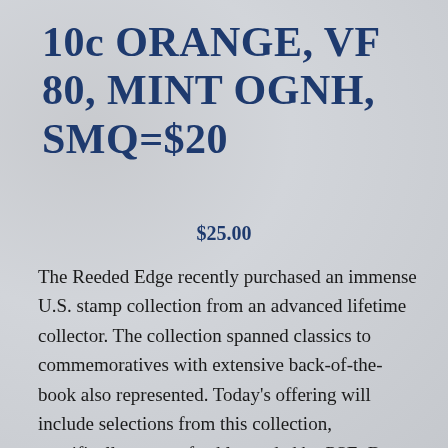10c ORANGE, VF 80, MINT OGNH, SMQ=$20
$25.00
The Reeded Edge recently purchased an immense U.S. stamp collection from an advanced lifetime collector. The collection spanned classics to commemoratives with extensive back-of-the-book also represented. Today's offering will include selections from this collection, specifically stamps freshly graded by PSE. Buy with confidence, as we have made every attempt to disclose faults and characteristics of each lot, with a high degree of accuracy. We are also members of the APS (Rob Lehmann), and adhere to their code of ethics. RE